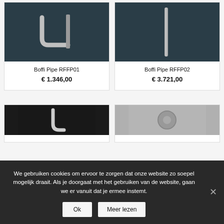[Figure (photo): Product photo of Boffi Pipe RFFP01 door handle on dark background]
Boffi Pipe RFFP01
€ 1.346,00
[Figure (photo): Product photo of Boffi Pipe RFFP02 door handle on dark background]
Boffi Pipe RFFP02
€ 3.721,00
[Figure (photo): Product photo bottom left on dark background]
[Figure (photo): Product photo bottom right on grey background]
We gebruiken cookies om ervoor te zorgen dat onze website zo soepel mogelijk draait. Als je doorgaat met het gebruiken van de website, gaan we er vanuit dat je ermee instemt.
Ok
Meer lezen